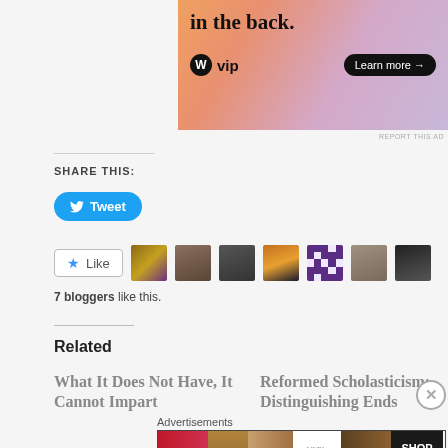[Figure (illustration): WordPress VIP advertisement banner with orange/pink gradient background, text 'in the back.', WordPress logo with 'vip' text, and 'Learn more →' button]
REPORT THIS AD
SHARE THIS:
[Figure (other): Blue Tweet button with Twitter bird icon]
[Figure (other): Like button with star icon followed by 7 blogger avatar thumbnails]
7 bloggers like this.
Related
What It Does Not Have, It Cannot Impart
Reformed Scholasticism: Distinguishing Ends
Advertisements
[Figure (illustration): Ulta beauty advertisement banner with makeup imagery including lips, brush, eye, Ulta logo, eyebrows, and SHOP NOW text]